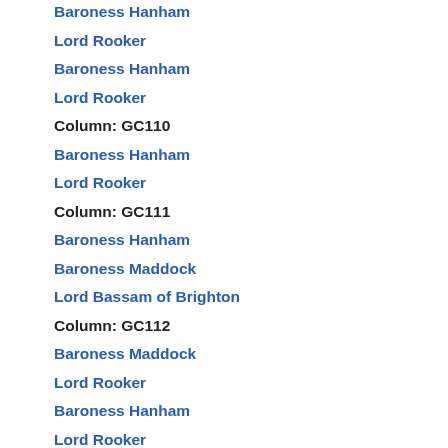Baroness Hanham
Lord Rooker
Baroness Hanham
Lord Rooker
Column: GC110
Baroness Hanham
Lord Rooker
Column: GC111
Baroness Hanham
Baroness Maddock
Lord Bassam of Brighton
Column: GC112
Baroness Maddock
Lord Rooker
Baroness Hanham
Lord Rooker
Baroness Hanham